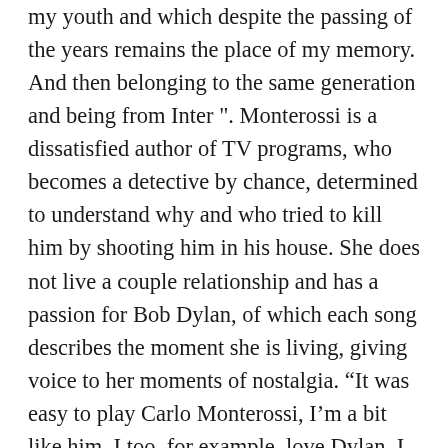my youth and which despite the passing of the years remains the place of my memory. And then belonging to the same generation and being from Inter ". Monterossi is a dissatisfied author of TV programs, who becomes a detective by chance, determined to understand why and who tried to kill him by shooting him in his house. She does not live a couple relationship and has a passion for Bob Dylan, of which each song describes the moment she is living, giving voice to her moments of nostalgia. “It was easy to play Carlo Monterossi, I’m a bit like him. I too, for example, love Dylan, I have my vinyls like him and I spent nights deciphering some of his song lyrics. Everything we represent represents us – says the actor – I wanted Monterossi and I to seem the same person ”. “I play Flora – says Carla Signoris talking about